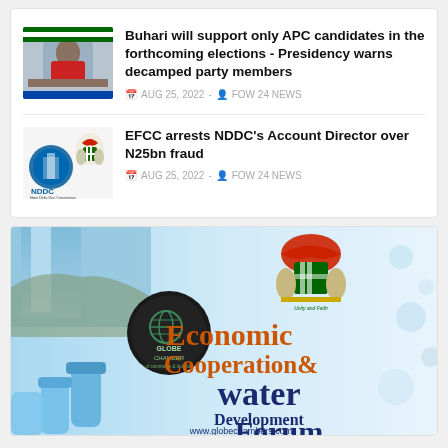[Figure (photo): Photo of Buhari at desk]
Buhari will support only APC candidates in the forthcoming elections - Presidency warns decamped party members
AUG 25, 2022 - FOW 24 NEWS
[Figure (logo): NDDC logo with Nigerian coat of arms]
EFCC arrests NDDC's Account Director over N25bn fraud
AUG 25, 2022 - FOW 24 NEWS
[Figure (photo): Advertisement banner for Economic Cooperation & water Development Forum by Globe Chamber, featuring Nigerian coat of arms and water imagery. Website: www.globechambers.com]